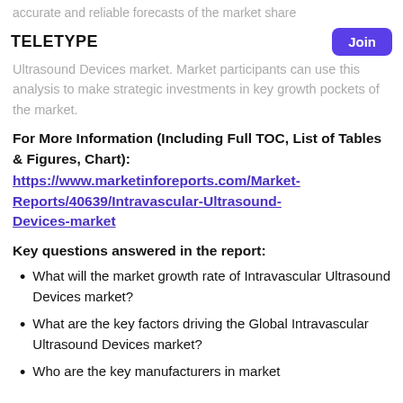accurate and reliable forecasts of the market share
teletype | Join
Ultrasound Devices market. Market participants can use this analysis to make strategic investments in key growth pockets of the market.
For More Information (Including Full TOC, List of Tables & Figures, Chart):
https://www.marketinforeports.com/Market-Reports/40639/Intravascular-Ultrasound-Devices-market
Key questions answered in the report:
What will the market growth rate of Intravascular Ultrasound Devices market?
What are the key factors driving the Global Intravascular Ultrasound Devices market?
Who are the key manufacturers in market